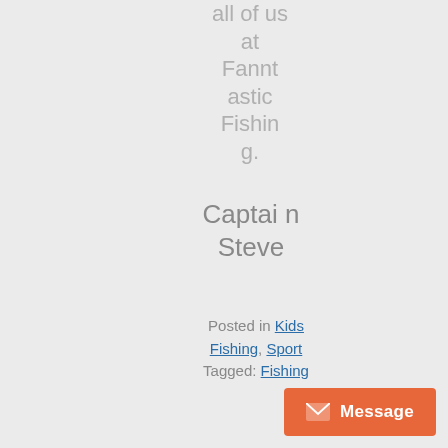all of us at Fanntastic Fishing.
Captain Steve
Posted in Kids Fishing, Sport Tagged: Fishing